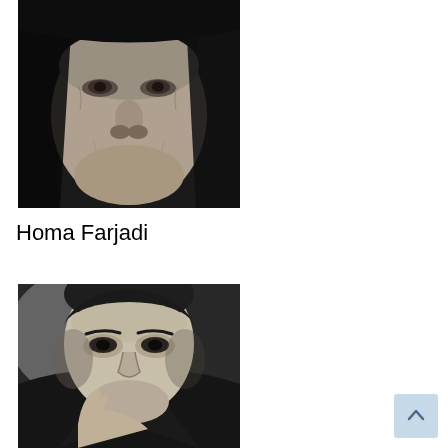[Figure (photo): Black and white close-up portrait photograph of an elderly woman wearing a dark headscarf, showing facial details and wrinkles]
Homa Farjadi
[Figure (photo): Black and white portrait photograph of a middle-aged man with a mustache, wearing a suit, looking thoughtful with hand near chin]